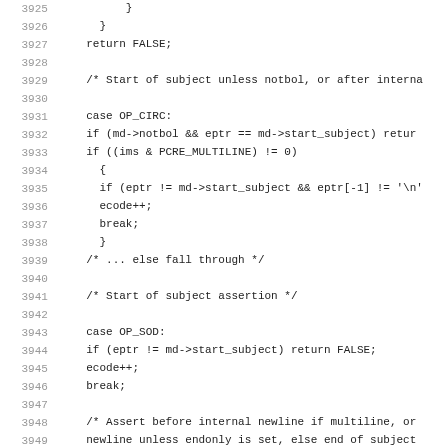Code listing lines 3925-3957, C source code showing PCRE regex matching logic including OP_CIRC, OP_SOD, and OP_DOLL cases